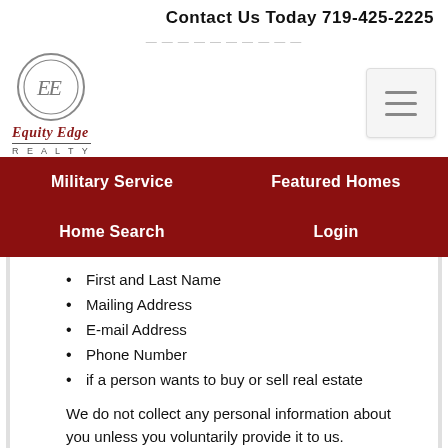Contact Us Today 719-425-2225
[Figure (logo): Equity Edge Realty circular logo with EE monogram]
Military Service | Featured Homes | Home Search | Login
First and Last Name
Mailing Address
E-mail Address
Phone Number
if a person wants to buy or sell real estate
We do not collect any personal information about you unless you voluntarily provide it to us. However, you may be required to provide certain personal information to us when you elect to use certain products or services available on the Site. These may